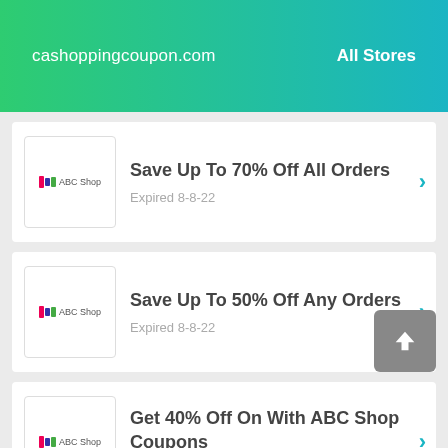cashoppingcoupon.com   All Stores
Save Up To 70% Off All Orders
Expired 8-8-22
Save Up To 50% Off Any Orders
Expired 8-8-22
Get 40% Off On With ABC Shop Coupons
Expired 8-8-22